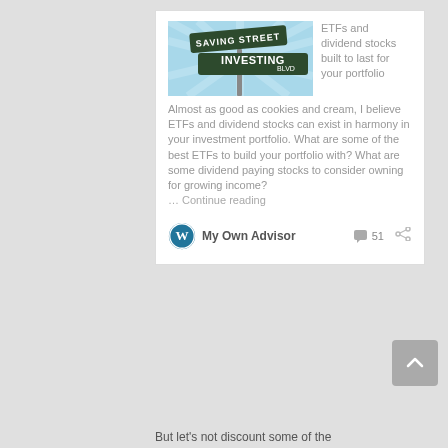[Figure (illustration): Street signs illustration showing 'SAVING STREET' and 'INVESTING BLVD' on a light blue starburst background]
ETFs and dividend stocks built to last for your portfolio Almost as good as cookies and cream, I believe ETFs and dividend stocks can exist in harmony in your investment portfolio. What are some of the best ETFs to build your portfolio with? What are some dividend paying stocks to consider owning for growing income? … Continue reading
My Own Advisor  51
But let's not discount some of the